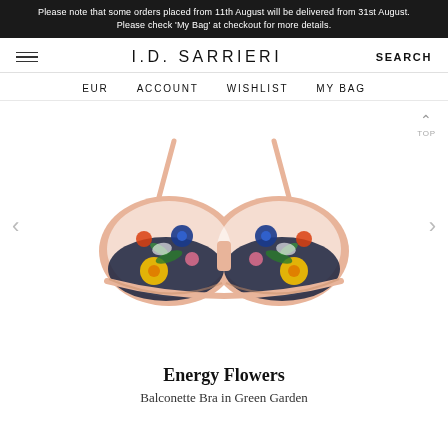Please note that some orders placed from 11th August will be delivered from 31st August. Please check 'My Bag' at checkout for more details.
I.D. SARRIERI   SEARCH
EUR   ACCOUNT   WISHLIST   MY BAG
[Figure (photo): A balconette bra on a white background. The bra has nude/peach mesh cups decorated with colorful floral embroidery featuring blue, yellow, green, red, and white flowers and leaves on a dark navy base. The straps are nude/peach colored.]
Energy Flowers
Balconette Bra in Green Garden